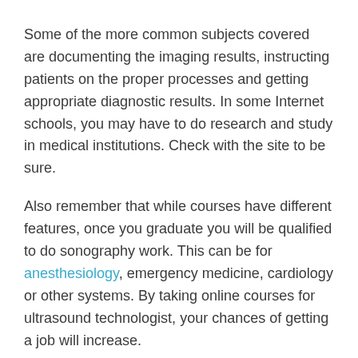Some of the more common subjects covered are documenting the imaging results, instructing patients on the proper processes and getting appropriate diagnostic results. In some Internet schools, you may have to do research and study in medical institutions. Check with the site to be sure.
Also remember that while courses have different features, once you graduate you will be qualified to do sonography work. This can be for anesthesiology, emergency medicine, cardiology or other systems. By taking online courses for ultrasound technologist, your chances of getting a job will increase.
Related Courses: